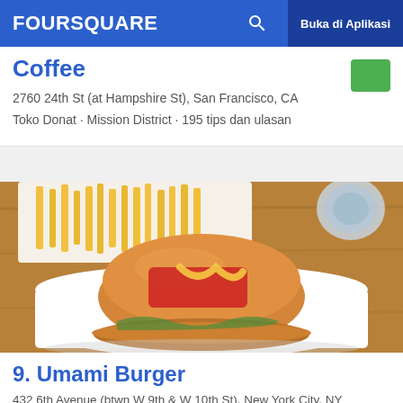FOURSQUARE | Buka di Aplikasi
Coffee
2760 24th St (at Hampshire St), San Francisco, CA
Toko Donat · Mission District · 195 tips dan ulasan
[Figure (photo): Photo of a burger on a white plate with french fries in the background on a wooden table]
9. Umami Burger
432 6th Avenue (btwn W 9th & W 10th St), New York City, NY
Kedai Burger · Greenwich Village · 410 tips dan ulasan